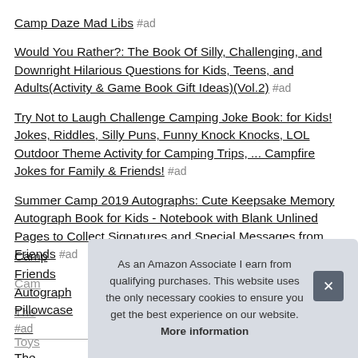Camp Daze Mad Libs #ad
Would You Rather?: The Book Of Silly, Challenging, and Downright Hilarious Questions for Kids, Teens, and Adults(Activity & Game Book Gift Ideas)(Vol.2) #ad
Try Not to Laugh Challenge Camping Joke Book: for Kids! Jokes, Riddles, Silly Puns, Funny Knock Knocks, LOL Outdoor Theme Activity for Camping Trips, ... Campfire Jokes for Family & Friends! #ad
Summer Camp 2019 Autographs: Cute Keepsake Memory Autograph Book for Kids - Notebook with Blank Unlined Pages to Collect Signatures and Special Messages from Friends #ad
Camp Friends Autograph Pillowcase #ad
The...
Toys...
Alex...
As an Amazon Associate I earn from qualifying purchases. This website uses the only necessary cookies to ensure you get the best experience on our website. More information